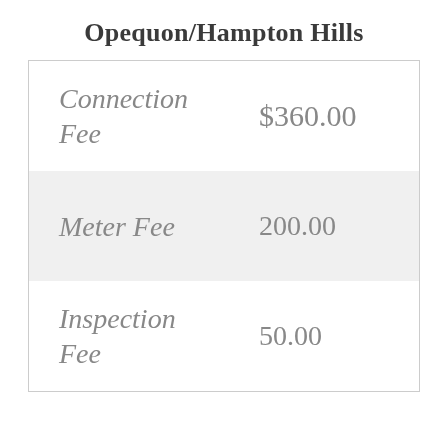Opequon/Hampton Hills
| Fee Type | Amount |
| --- | --- |
| Connection Fee | $360.00 |
| Meter Fee | 200.00 |
| Inspection Fee | 50.00 |